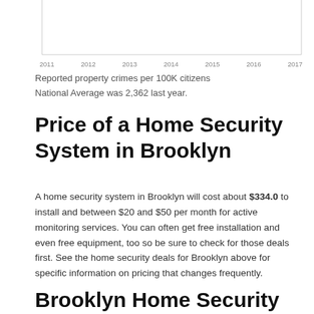[Figure (continuous-plot): Partial line chart showing years 2011–2017 on x-axis, representing reported property crimes per 100K citizens over time. Only the x-axis labels and a horizontal gridline are visible; chart content is cropped at top.]
Reported property crimes per 100K citizens
National Average was 2,362 last year.
Price of a Home Security System in Brooklyn
A home security system in Brooklyn will cost about $334.0 to install and between $20 and $50 per month for active monitoring services. You can often get free installation and even free equipment, too so be sure to check for those deals first. See the home security deals for Brooklyn above for specific information on pricing that changes frequently.
Brooklyn Home Security